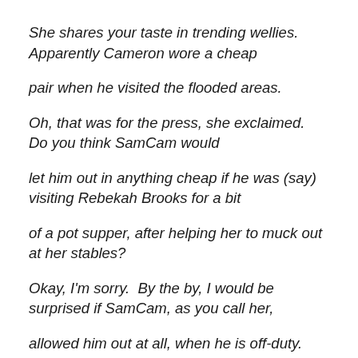She shares your taste in trending wellies.  Apparently Cameron wore a cheap
pair when he visited the flooded areas.
Oh, that was for the press, she exclaimed.  Do you think SamCam would
let him out in anything cheap if he was (say) visiting Rebekah Brooks for a bit
of a pot supper, after helping her to muck out at her stables?
Okay, I'm sorry.  By the by, I would be surprised if SamCam, as you call her,
allowed him out at all, when he is off-duty.  She would